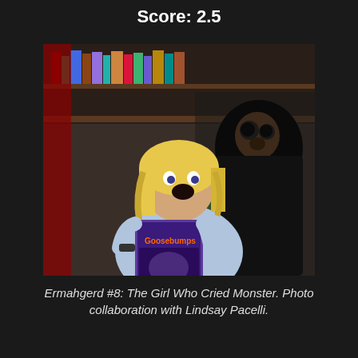Score: 2.5
[Figure (photo): Person wearing blonde wig with mouth open in shock expression, holding a Goosebumps book, with another person wearing a dark hooded monster mask/costume crouching behind them. Bookshelves visible in background.]
Ermahgerd #8: The Girl Who Cried Monster. Photo collaboration with Lindsay Pacelli.